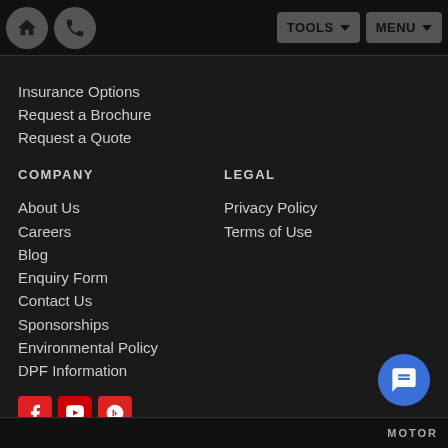Home | Phone | TOOLS | MENU
Insurance Options
Request a Brochure
Request a Quote
COMPANY
About Us
Careers
Blog
Enquiry Form
Contact Us
Sponsorships
Environmental Policy
DPF Information
LEGAL
Privacy Policy
Terms of Use
[Figure (infographic): Social media icons: Facebook, YouTube, Google+]
[Figure (infographic): Blue circular chat/messaging button]
MOTOR